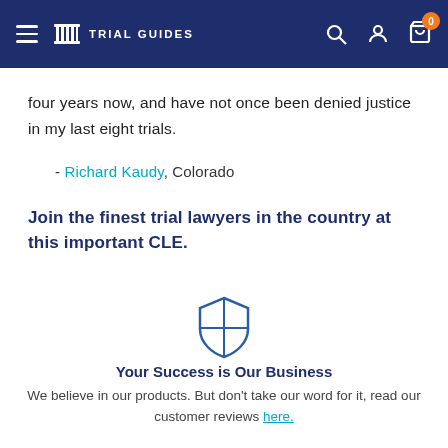Trial Guides — Navigation bar with hamburger menu, logo, search, account, and cart (0 items)
four years now, and have not once been denied justice in my last eight trials.
- Richard Kaudy, Colorado
Join the finest trial lawyers in the country at this important CLE.
[Figure (illustration): Shield icon with cross divider, outlined in navy/teal blue]
Your Success is Our Business
We believe in our products. But don't take our word for it, read our customer reviews here.